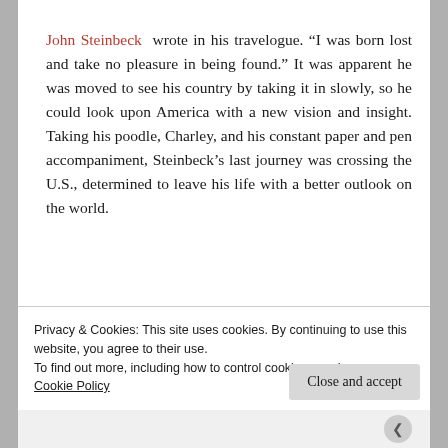John Steinbeck wrote in his travelogue. “I was born lost and take no pleasure in being found.” It was apparent he was moved to see his country by taking it in slowly, so he could look upon America with a new vision and insight. Taking his poodle, Charley, and his constant paper and pen accompaniment, Steinbeck’s last journey was crossing the U.S., determined to leave his life with a better outlook on the world.
It’s the same with those of us who decide to sta…
Privacy & Cookies: This site uses cookies. By continuing to use this website, you agree to their use.
To find out more, including how to control cookies, see here:
Cookie Policy